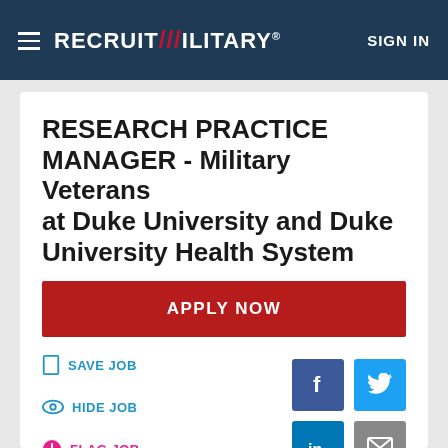RecruitMilitary® SIGN IN
RESEARCH PRACTICE MANAGER - Military Veterans at Duke University and Duke University Health System
APPLY NOW
SAVE JOB
HIDE JOB
FLAG JOB